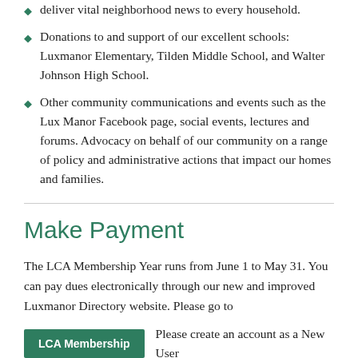deliver vital neighborhood news to every household.
Donations to and support of our excellent schools: Luxmanor Elementary, Tilden Middle School, and Walter Johnson High School.
Other community communications and events such as the Lux Manor Facebook page, social events, lectures and forums. Advocacy on behalf of our community on a range of policy and administrative actions that impact our homes and families.
Make Payment
The LCA Membership Year runs from June 1 to May 31. You can pay dues electronically through our new and improved Luxmanor Directory website. Please go to
LCA Membership   Please create an account as a New User with an email and a password and follow the directions. Once